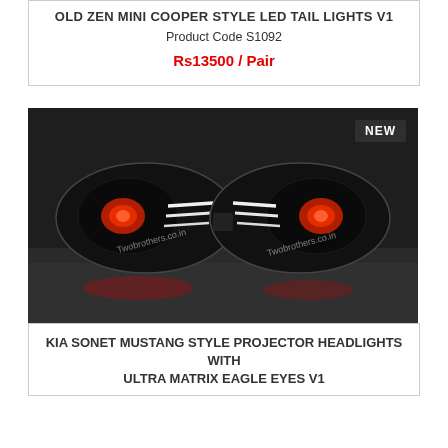OLD ZEN MINI COOPER STYLE LED TAIL LIGHTS V1
Product Code S1092
Rs13500 / Pair
[Figure (photo): Photo of KIA Sonet Mustang style projector headlights with ultra matrix eagle eyes, shown as a pair of black headlights with white LED strips and red projector eyes, watermarked with Twobrothers.co.in. A 'NEW' badge is shown in the top right corner.]
KIA SONET MUSTANG STYLE PROJECTOR HEADLIGHTS WITH ULTRA MATRIX EAGLE EYES V1